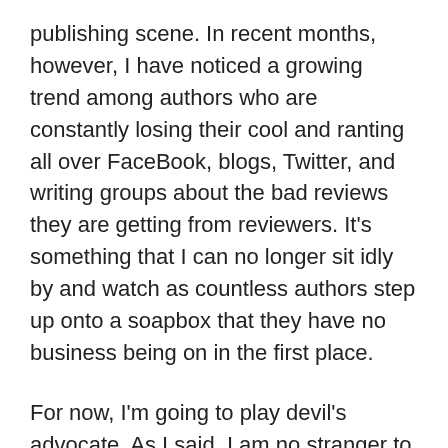publishing scene. In recent months, however, I have noticed a growing trend among authors who are constantly losing their cool and ranting all over FaceBook, blogs, Twitter, and writing groups about the bad reviews they are getting from reviewers. It's something that I can no longer sit idly by and watch as countless authors step up onto a soapbox that they have no business being on in the first place.
For now, I'm going to play devil's advocate. As I said, I am no stranger to the publishing game, neither indie nor trade. I began my decent into this dog-eat-dog world some twenty-three odd years ago, when I was but sixteen, when I first started sending out query letters to every publishing house in the country. I was met by nothing but rejection letters and a lot of well-meaning editors who were more than willing to give me advice on what all I was doing